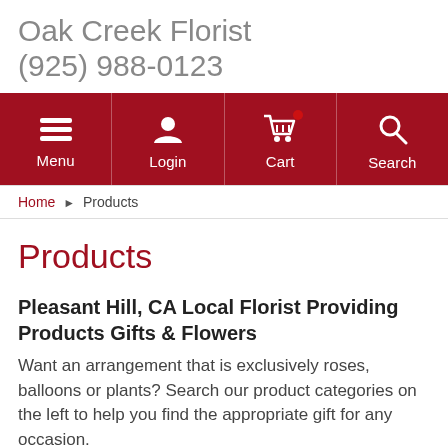Oak Creek Florist
(925) 988-0123
[Figure (screenshot): Navigation bar with dark red background containing four icon+label buttons: Menu (hamburger icon), Login (person icon), Cart (shopping cart icon with red badge), Search (magnifying glass icon)]
Home ▶ Products
Products
Pleasant Hill, CA Local Florist Providing Products Gifts & Flowers
Want an arrangement that is exclusively roses, balloons or plants? Search our product categories on the left to help you find the appropriate gift for any occasion.